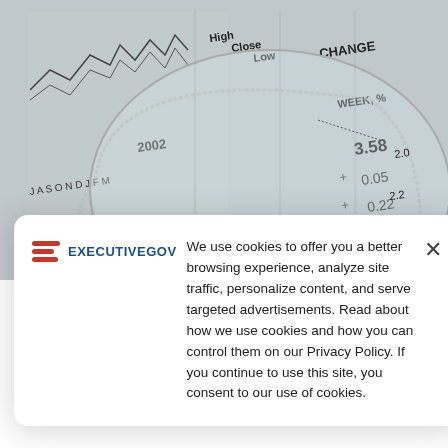[Figure (photo): Close-up photo of a financial newspaper/stock chart page with a magnifying glass lens visible, showing stock data columns including High, Close, Low, CHANGE, WEEK%, and numerical values like 3.58, 0.05, 0.22, 1.90, and dates like 2002, months A S O N D J F M.]
CIVILIAN / NEWS
Treasury, OMB Release Final Data Standards on
We use cookies to offer you a better browsing experience, analyze site traffic, personalize content, and serve targeted advertisements. Read about how we use cookies and how you can control them on our Privacy Policy. If you continue to use this site, you consent to our use of cookies.